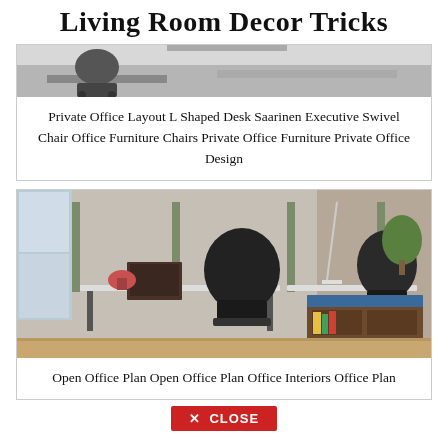Living Room Decor Tricks
[Figure (photo): Top portion of a private office with L-shaped desk and executive swivel chair — image cropped at top]
Private Office Layout L Shaped Desk Saarinen Executive Swivel Chair Office Furniture Chairs Private Office Furniture Private Office Design
[Figure (photo): Open office plan with standing desks, green privacy panels, black mesh chairs, and a wooden storage unit with blue top]
Open Office Plan Open Office Plan Office Interiors Office Plan
✕ CLOSE